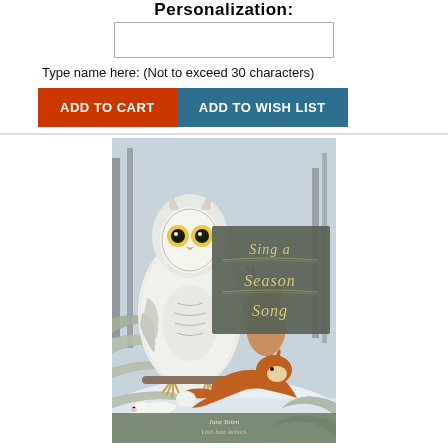Personalization:
Type name here: (Not to exceed 30 characters)
ADD TO CART
ADD TO WISH LIST
[Figure (illustration): Book cover of 'Sing a Season Song' by Jane Yolen and Lisel Jane Ashlock, featuring a snowy winter scene with a white owl, fox, deer, and weasel, with snow-covered pine branches]